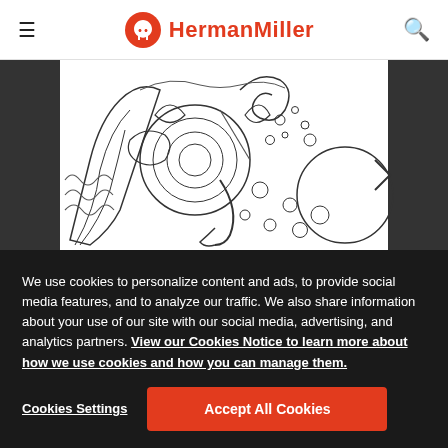HermanMiller
[Figure (illustration): Abstract line drawing illustration with organic shapes, circles, swirls and leaf-like forms in black and white]
We use cookies to personalize content and ads, to provide social media features, and to analyze our traffic. We also share information about your use of our site with our social media, advertising, and analytics partners. View our Cookies Notice to learn more about how we use cookies and how you can manage them.
Cookies Settings
Accept All Cookies